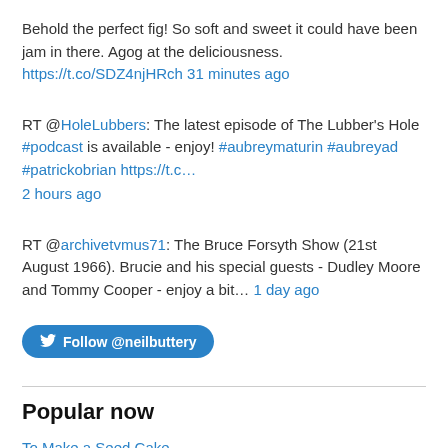Behold the perfect fig! So soft and sweet it could have been jam in there. Agog at the deliciousness. https://t.co/SDZ4njHRch 31 minutes ago
RT @HoleLubbers: The latest episode of The Lubber's Hole #podcast is available - enjoy! #aubreymaturin #aubreyad #patrickobrian https://t.c… 2 hours ago
RT @archivetvmus71: The Bruce Forsyth Show (21st August 1966). Brucie and his special guests - Dudley Moore and Tommy Cooper - enjoy a bit… 1 day ago
[Figure (other): Follow @neilbuttery button - blue rounded button with Twitter bird icon]
Popular now
To Make a Seed Cake
To Make a Coburg (or Cob) Loaf
King Alfred Burns the Cakes
Spotted Dick